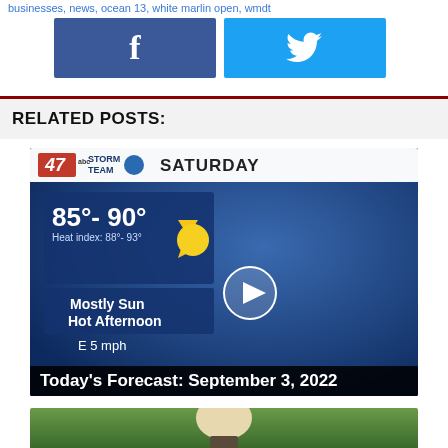businesses, news, ocean 13, white marlin open, wmdt
[Figure (other): Facebook and Twitter social share buttons]
RELATED POSTS:
[Figure (screenshot): Video thumbnail: Weather forecast segment from 47abc Storm Team showing Saturday forecast: 85°-90°, Heat index 88°-93°, Mostly Sunny Hot Afternoon, E 5 mph wind. Caption reads: Today's Forecast: September 3, 2022]
[Figure (photo): Partial photo at bottom of page showing outdoor scene with person]